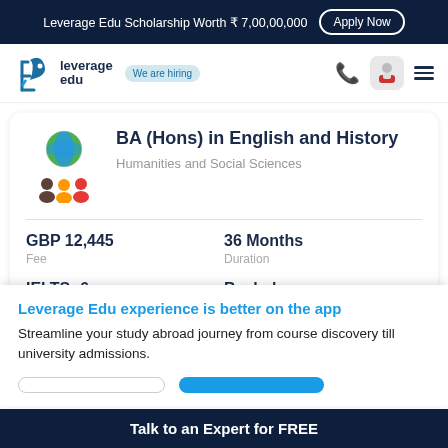Leverage Edu Scholarship Worth ₹ 7,00,00,000  Apply Now
[Figure (logo): Leverage Edu logo with rocket icon and 'We are hiring' badge, plus phone icon, avatar, and hamburger menu]
BA (Hons) in English and History
Humanities and Social Sciences
GBP 12,445
Fee
36 Months
Duration
IELTS: 6
Qualification
Bachelors
Course level
Leverage Edu experience is better on the app
Streamline your study abroad journey from course discovery till university admissions.
Talk to an Expert for FREE